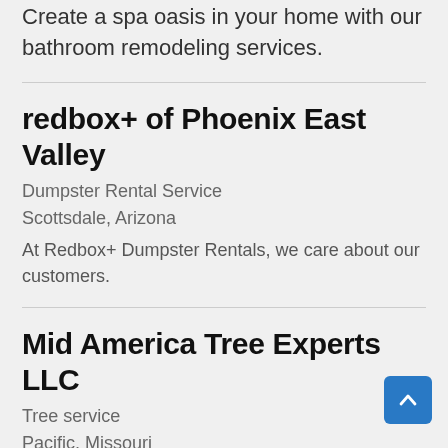Create a spa oasis in your home with our bathroom remodeling services.
redbox+ of Phoenix East Valley
Dumpster Rental Service
Scottsdale, Arizona
At Redbox+ Dumpster Rentals, we care about our customers.
Mid America Tree Experts LLC
Tree service
Pacific, Missouri
Mid America Tree Experts is a locally